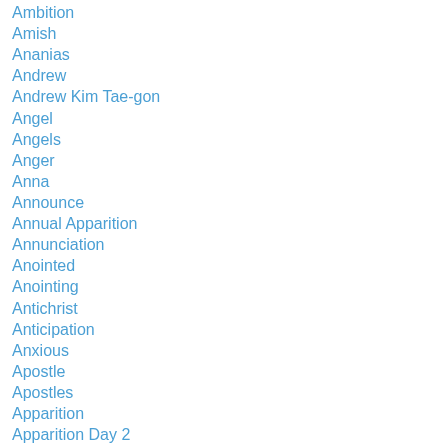Ambition
Amish
Ananias
Andrew
Andrew Kim Tae-gon
Angel
Angels
Anger
Anna
Announce
Annual Apparition
Annunciation
Anointed
Anointing
Antichrist
Anticipation
Anxious
Apostle
Apostles
Apparition
Apparition Day 2